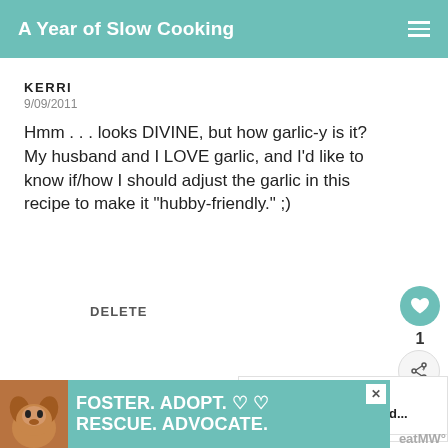A Year of Slow Cooking
KERRI
9/09/2011
Hmm . . . looks DIVINE, but how garlic-y is it? My husband and I LOVE garlic, and I'd like to know if/how I should adjust the garlic in this recipe to make it "hubby-friendly." ;)
DELETE
EMMA
9/10/2011
[Figure (other): FOSTER. ADOPT. RESCUE. ADVOCATE. advertisement banner with a dog photo]